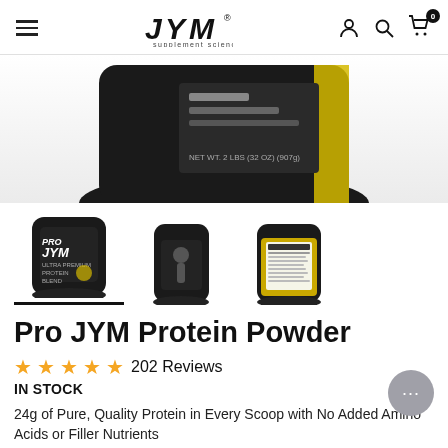JYM supplement science
[Figure (photo): Close-up of the bottom portion of a black JYM Pro JYM protein powder container against a white background, showing the label with text including NET WT. 2 LBS (32 OZ) (907g)]
[Figure (photo): Three thumbnail images of Pro JYM protein powder container: front view showing black container with PRO JYM branding, back view showing nutrition label, and side/back view with yellow label]
Pro JYM Protein Powder
202 Reviews
IN STOCK
24g of Pure, Quality Protein in Every Scoop with No Added Amino Acids or Filler Nutrients